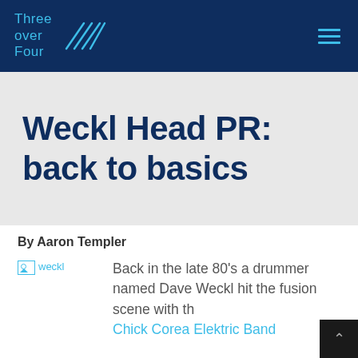Three over Four
Weckl Head PR: back to basics
By Aaron Templer
[Figure (photo): Placeholder image icon labeled 'weckl']
Back in the late 80's a drummer named Dave Weckl hit the fusion scene with th Chick Corea Elektric Band